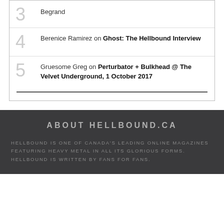3 Begrand
4 Berenice Ramirez on Ghost: The Hellbound Interview
5 Gruesome Greg on Perturbator + Bulkhead @ The Velvet Underground, 1 October 2017
ABOUT HELLBOUND.CA
HELLBOUND IS ONE OF CANADA'S LEADING ONLINE MAGAZINES FEATURING HEAVY METAL IN ALL ITS GLORIOUS FORMS. HELLBOUND IS WRITTEN BY FANS FOR FANS.